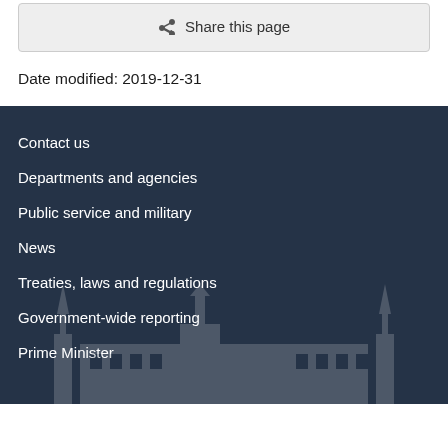Share this page
Date modified: 2019-12-31
Contact us
Departments and agencies
Public service and military
News
Treaties, laws and regulations
Government-wide reporting
Prime Minister